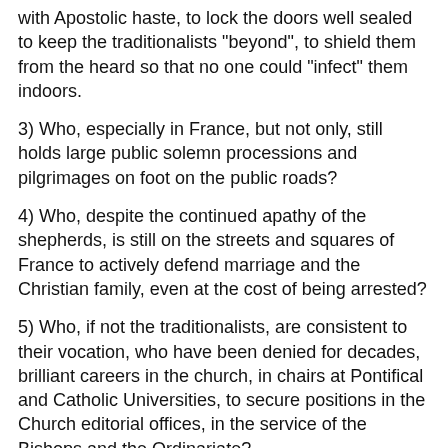...with Apostolic haste, to lock the doors well sealed to keep the traditionalists "beyond", to shield them from the heard so that no one could "infect" them indoors.
3) Who, especially in France, but not only, still holds large public solemn processions and pilgrimages on foot on the public roads?
4) Who, despite the continued apathy of the shepherds, is still on the streets and squares of France to actively defend marriage and the Christian family, even at the cost of being arrested?
5) Who, if not the traditionalists, are consistent to their vocation, who have been denied for decades, brilliant careers in the church, in chairs at Pontifical and Catholic Universities, to secure positions in the Church editorial offices, in the service of the Bishops and the Ordinariate?
6) Who is able, to the anger of self-centered bishops, thanks to the grace of God and the readiness to engage a healthy debate on the world's byways in order still to convert Protestants, Jews and Muslims?